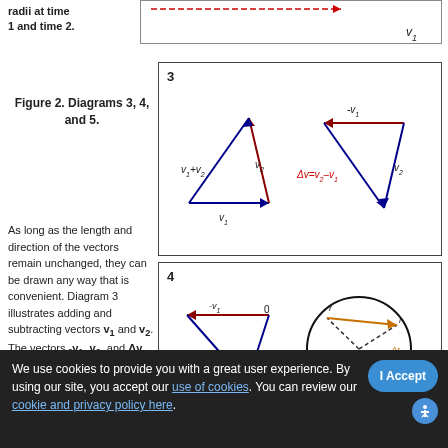radii at time 1 and time 2.
[Figure (engineering-diagram): Top diagram fragment showing v1 label at bottom right inside a bordered box]
Figure 2. Diagrams 3, 4, and 5.
[Figure (engineering-diagram): Diagram 3 showing vector addition and subtraction triangles. Left triangle shows v1+v2, v2, v1 vectors in blue/red. Right shows -v1, v2, and delta-v=v2-v1 in red label.]
As long as the length and direction of the vectors remain unchanged, they can be drawn any way that is convenient. Diagram 3 illustrates adding and subtracting vectors v1 and v2.
[Figure (engineering-diagram): Diagram 4 showing vector triangle on left with -v1, 0, delta-v, v2 and a circle on the right with r, r, theta, delta-r labels and an orange arrow.]
The vectors -v1, v2, and delta-v form a triangle that is similar to the triangle
We use cookies to provide you with a great user experience. By using our site, you accept our use of cookies. You can review our cookie and privacy policy here.